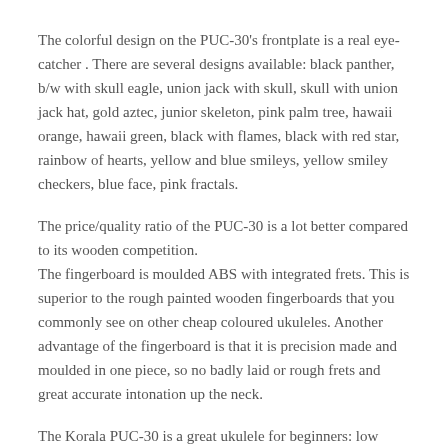The colorful design on the PUC-30's frontplate is a real eye-catcher . There are several designs available: black panther, b/w with skull eagle, union jack with skull, skull with union jack hat, gold aztec, junior skeleton, pink palm tree, hawaii orange, hawaii green, black with flames, black with red star, rainbow of hearts, yellow and blue smileys, yellow smiley checkers, blue face, pink fractals.
The price/quality ratio of the PUC-30 is a lot better compared to its wooden competition.
The fingerboard is moulded ABS with integrated frets. This is superior to the rough painted wooden fingerboards that you commonly see on other cheap coloured ukuleles. Another advantage of the fingerboard is that it is precision made and moulded in one piece, so no badly laid or rough frets and great accurate intonation up the neck.
The Korala PUC-30 is a great ukulele for beginners: low price,